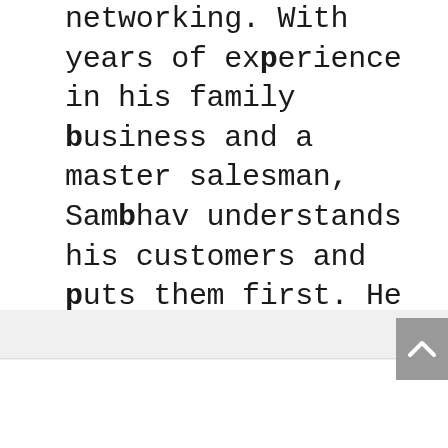networking. With years of experience in his family business and a master salesman, Sambhav understands his customers and puts them first. He is Mr. Businessman and always means business. Naturally Pessimistic, he balances our over Optimistic boat and keeps things real.
Be the first to know about our discounts & our latest launches